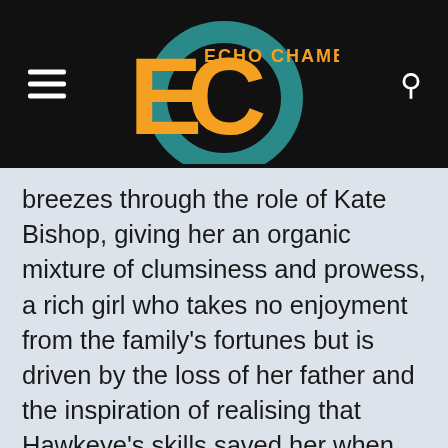Echo Chamber
breezes through the role of Kate Bishop, giving her an organic mixture of clumsiness and prowess, a rich girl who takes no enjoyment from the family’s fortunes but is driven by the loss of her father and the inspiration of realising that Hawkeye’s skills saved her when she was a child. It’s the kind of template that works well, a character with whom we can identify because she isn’t perfect, she’s just trying.
Kate Bishop muses that Hawkeye’s problem is ‘branding’. There’s some meta-truth at work there. The character doesn’t get a little